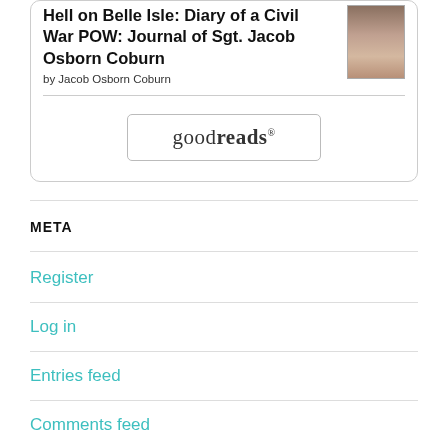[Figure (other): Book widget card showing book title 'Hell on Belle Isle: Diary of a Civil War POW: Journal of Sgt. Jacob Osborn Coburn' by Jacob Osborn Coburn, with a book cover thumbnail and a Goodreads button]
META
Register
Log in
Entries feed
Comments feed